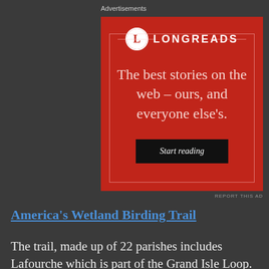Advertisements
[Figure (illustration): Longreads advertisement on red background with logo circle containing 'L', headline 'The best stories on the web – ours, and everyone else's.' and a black 'Start reading' button with decorative border.]
REPORT THIS AD
America's Wetland Birding Trail
The trail, made up of 22 parishes includes Lafourche which is part of the Grand Isle Loop. The loop is a loop section of...